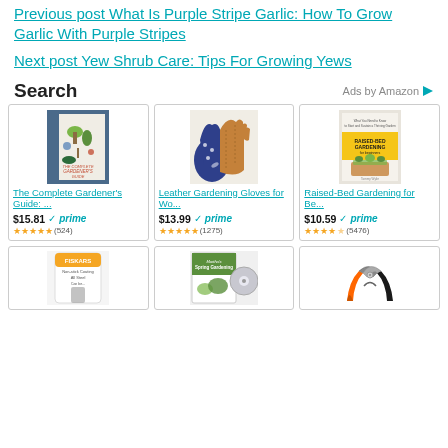Previous post What Is Purple Stripe Garlic: How To Grow Garlic With Purple Stripes
Next post Yew Shrub Care: Tips For Growing Yews
Search
Ads by Amazon
[Figure (other): Amazon product ad grid showing gardening books and gloves with prices and ratings. Row 1: The Complete Gardener's Guide $15.81 prime (524 reviews), Leather Gardening Gloves for Wo... $13.99 prime (1275 reviews), Raised-Bed Gardening for Be... $10.59 prime (5476 reviews). Row 2: Three more partially visible products (Fiskars item, Martha's Spring Gardening DVD, orange pruning shears).]